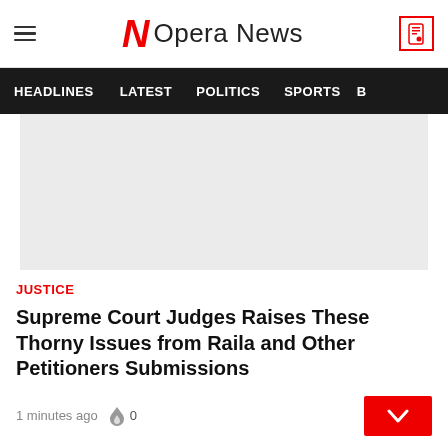Opera News
HEADLINES  LATEST  POLITICS  SPORTS  B
[Figure (photo): Light gray placeholder image area]
JUSTICE
Supreme Court Judges Raises These Thorny Issues from Raila and Other Petitioners Submissions
1 minutes ago  0